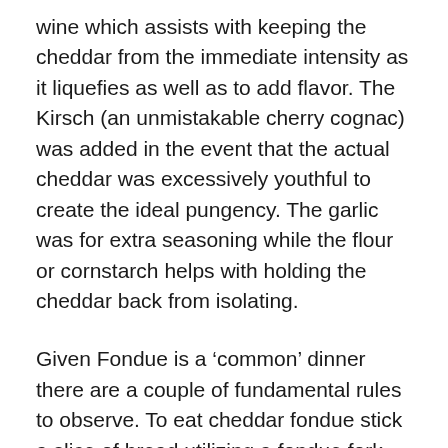wine which assists with keeping the cheddar from the immediate intensity as it liquefies as well as to add flavor. The Kirsch (an unmistakable cherry cognac) was added in the event that the actual cheddar was excessively youthful to create the ideal pungency. The garlic was for extra seasoning while the flour or cornstarch helps with holding the cheddar back from isolating.
Given Fondue is a ‘common’ dinner there are a couple of fundamental rules to observe. To eat cheddar fondue stick a slice of bread utilizing a fondue fork and plunge it into the pot. Spin the bread 3D shape tenderly in the cheddar to cover it. You’ll need to allow the bread to trickle a piece before you put it in your mouth. This will permit the overabundance to trickle back in the pot and furthermore permit time for cooling. At the point